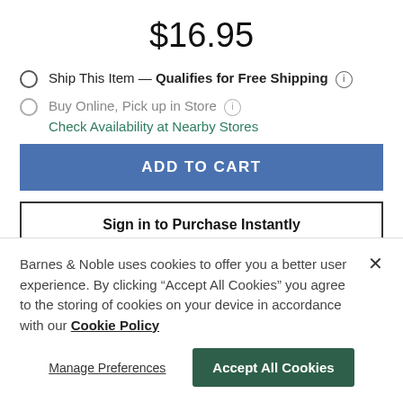$16.95
Ship This Item — Qualifies for Free Shipping (i)
Buy Online, Pick up in Store (i)
Check Availability at Nearby Stores
ADD TO CART
Sign in to Purchase Instantly
Barnes & Noble uses cookies to offer you a better user experience. By clicking "Accept All Cookies" you agree to the storing of cookies on your device in accordance with our Cookie Policy
Manage Preferences
Accept All Cookies